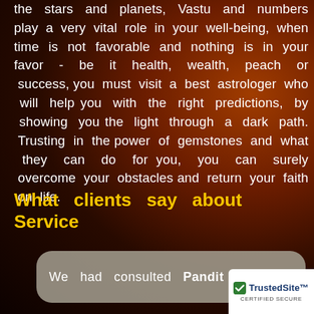the stars and planets, Vastu and numbers play a very vital role in your well-being, when time is not favorable and nothing is in your favor - be it health, wealth, peach or success, you must visit a best astrologer who will help you with the right predictions, by showing you the light through a dark path. Trusting in the power of gemstones and what they can do for you, you can surely overcome your obstacles and return your faith on life.
What clients say about Service
We had consulted Pandit VS